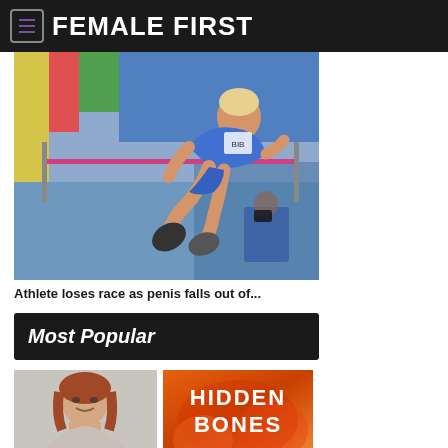FEMALE FIRST
[Figure (photo): Athlete performing a high jump, arching backwards over a pink horizontal bar, wearing blue athletic gear, at an indoor track and field venue]
Athlete loses race as penis falls out of...
Most Popular
[Figure (photo): Woman with reddish-brown hair, smiling, gray background]
[Figure (photo): Book cover with orange/fire background reading HIDDEN BONES]